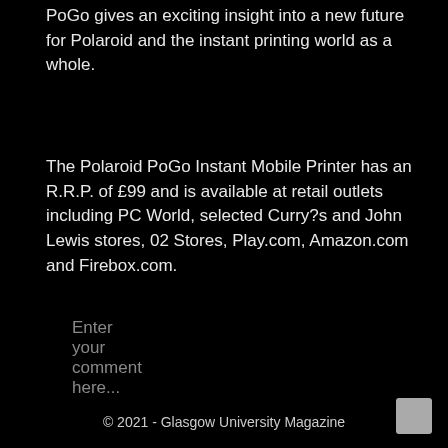PoGo gives an exciting insight into a new future for Polaroid and the instant printing world as a whole.
The Polaroid PoGo Instant Mobile Printer has an R.R.P. of £99 and is available at retail outlets including PC World, selected Curry?s and John Lewis stores, 02 Stores, Play.com, Amazon.com and Firebox.com.
Enter your comment here...
© 2021 - Glasgow University Magazine